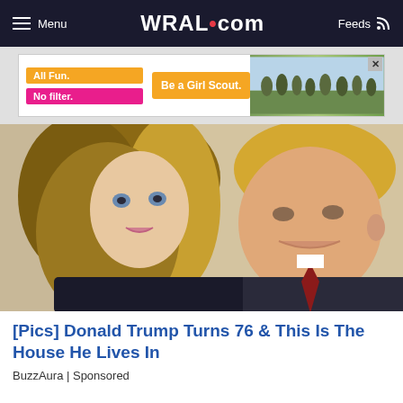Menu | WRAL.com | Feeds
[Figure (screenshot): Girl Scout advertisement banner with orange 'All Fun.' label, pink 'No filter.' label, 'Be a Girl Scout.' call to action button, and a photo of children outdoors]
[Figure (photo): Close-up photo of Melania Trump and Donald Trump side by side]
[Pics] Donald Trump Turns 76 & This Is The House He Lives In
BuzzAura | Sponsored